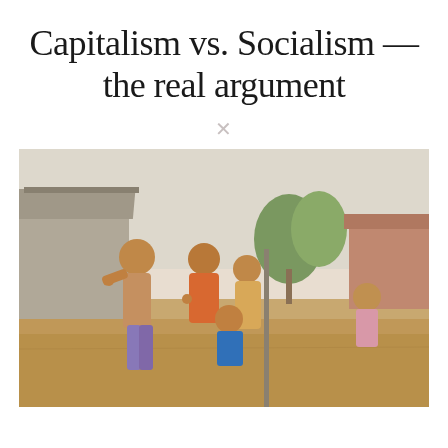Capitalism vs. Socialism — the real argument
[Figure (photo): Group of young children playing outdoors in a rural village setting, smiling and making peace signs and thumbs up gestures. Sandy ground, simple buildings and trees in background.]